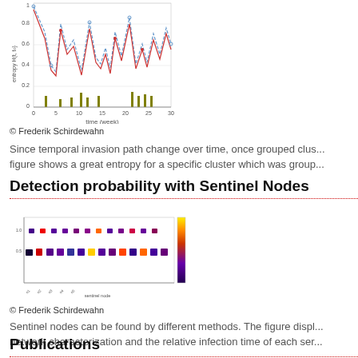[Figure (continuous-plot): Time series chart showing entropy H(t,t0) vs time (week), with blue dashed line, red solid line, and olive/green bar markers at the bottom. Y-axis labeled 'entropy H(t,t0)' from 0 to 1, X-axis labeled 'time (week)' from 0 to 30.]
© Frederik Schirdewahn
Since temporal invasion path change over time, once grouped clus... figure shows a great entropy for a specific cluster which was group...
Detection probability with Sentinel Nodes
[Figure (scatter-plot): Heatmap/scatter visualization showing detection probability with sentinel nodes. Multiple colored rectangles/squares arranged in rows against a color scale on the right. X-axis shows sentinel node labels, y-axis shows values.]
© Frederik Schirdewahn
Sentinel nodes can be found by different methods. The figure displ... network characterization and the relative infection time of each ser...
Publications